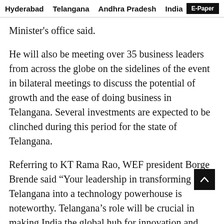Hyderabad   Telangana   Andhra Pradesh   India   E-Paper
Minister’s office said.
He will also be meeting over 35 business leaders from across the globe on the sidelines of the event in bilateral meetings to discuss the potential of growth and the ease of doing business in Telangana. Several investments are expected to be clinched during this period for the state of Telangana.
Referring to KT Rama Rao, WEF president Borge Brende said “Your leadership in transforming Telangana into a technology powerhouse is noteworthy. Telangana’s role will be crucial in making India the global hub for innovation and technology.”